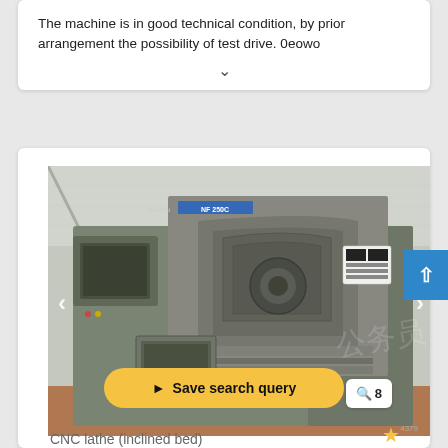The machine is in good technical condition, by prior arrangement the possibility of test drive. 0eowo
[Figure (photo): CNC lathe machine (inclined bed) photographed in a workshop/factory, shown with open guard, control panel, and display screen. Machine appears to be olive/army green color.]
▲ Save search query
🔍 8
CNC lathe (inclined bed)